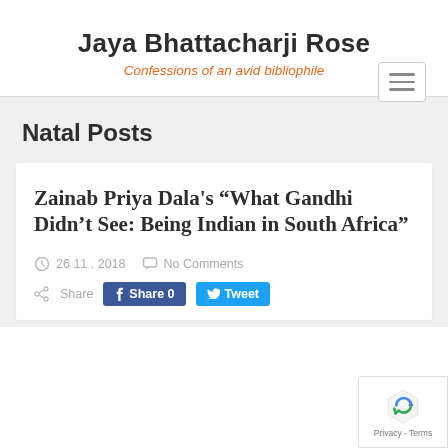Jaya Bhattacharji Rose
Confessions of an avid bibliophile
Natal Posts
Zainab Priya Dala's “What Gandhi Didn’t See: Being Indian in South Africa”
26 11 . 2018   No Comments
Share   Share 0   Tweet